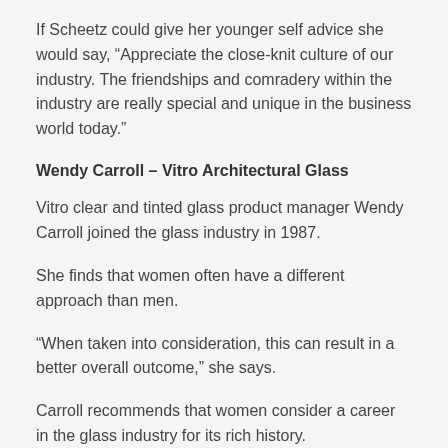If Scheetz could give her younger self advice she would say, “Appreciate the close-knit culture of our industry. The friendships and comradery within the industry are really special and unique in the business world today.”
Wendy Carroll – Vitro Architectural Glass
Vitro clear and tinted glass product manager Wendy Carroll joined the glass industry in 1987.
She finds that women often have a different approach than men.
“When taken into consideration, this can result in a better overall outcome,” she says.
Carroll recommends that women consider a career in the glass industry for its rich history.